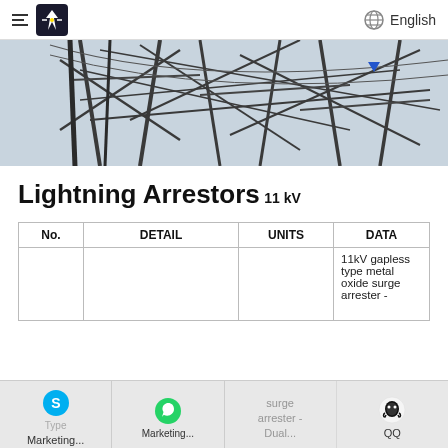English
[Figure (photo): Photo of a high-voltage electrical transmission tower structure with steel lattice beams against a grey-blue sky]
Lightning Arrestors
11 kV
| No. | DETAIL | UNITS | DATA |
| --- | --- | --- | --- |
|  |  |  | 11kV gapless type metal oxide surge arrester - |
Type Marketing... | Marketing... | QQ